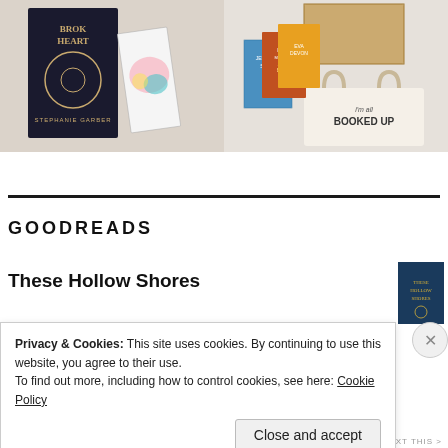[Figure (photo): Two side-by-side photos: left shows a dark book cover 'Broken Heart' by Stephanie Garber with a floral notebook on white fabric; right shows a subscription box with multiple book covers including 'All the Broken Sisters' by Linda Mortimer and others, with a tote bag reading 'I'm all booked up']
GOODREADS
These Hollow Shores
[Figure (photo): Small book cover thumbnail for 'These Hollow Shores' - dark blue cover with gold text]
Privacy & Cookies: This site uses cookies. By continuing to use this website, you agree to their use.
To find out more, including how to control cookies, see here: Cookie Policy
Close and accept